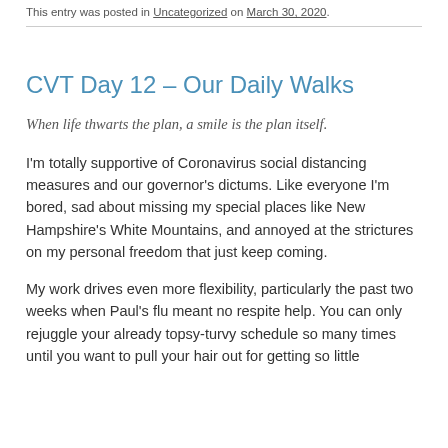This entry was posted in Uncategorized on March 30, 2020.
CVT Day 12 – Our Daily Walks
When life thwarts the plan, a smile is the plan itself.
I'm totally supportive of Coronavirus social distancing measures and our governor's dictums. Like everyone I'm bored, sad about missing my special places like New Hampshire's White Mountains, and annoyed at the strictures on my personal freedom that just keep coming.
My work drives even more flexibility, particularly the past two weeks when Paul's flu meant no respite help. You can only rejuggle your already topsy-turvy schedule so many times until you want to pull your hair out for getting so little